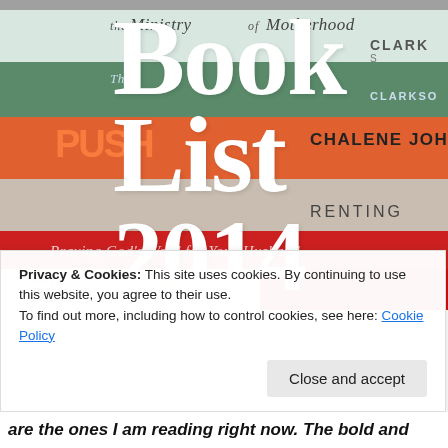[Figure (photo): Stack of books photographed from above at an angle, showing spines including 'The Ministry of Motherhood' by Clark/Clarkson, a book by Chalene Johnson, a book about Parenting, 'Praying God's Word for Your Husband', 'Hotel Blue' (partial). Large white bold serif text overlaid reads 'Book List 2014'.]
Privacy & Cookies: This site uses cookies. By continuing to use this website, you agree to their use.
To find out more, including how to control cookies, see here: Cookie Policy
[Close and accept button]
are the ones I am reading right now. The bold and